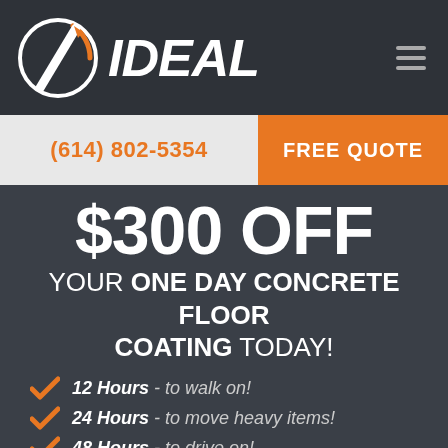[Figure (logo): Ideal logo with circular icon and bold italic IDEAL text, hamburger menu icon on right]
(614) 802-5354
FREE QUOTE
$300 OFF
YOUR ONE DAY CONCRETE FLOOR COATING TODAY!
12 Hours - to walk on!
24 Hours - to move heavy items!
48 Hours - to drive on!